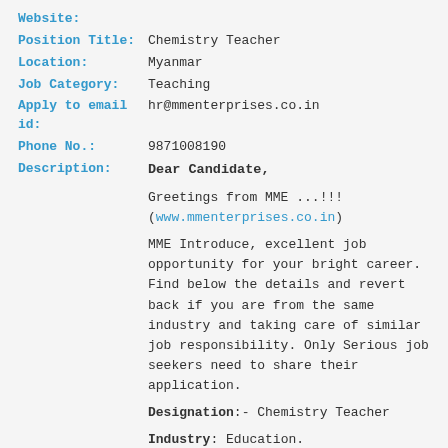Website:
Position Title: Chemistry Teacher
Location: Myanmar
Job Category: Teaching
Apply to email id: hr@mmenterprises.co.in
Phone No.: 9871008190
Description: Dear Candidate,

Greetings from MME ...!!!
(www.mmenterprises.co.in)

MME Introduce, excellent job opportunity for your bright career. Find below the details and revert back if you are from the same industry and taking care of similar job responsibility. Only Serious job seekers need to share their application.

Designation:- Chemistry Teacher

Industry: Education.